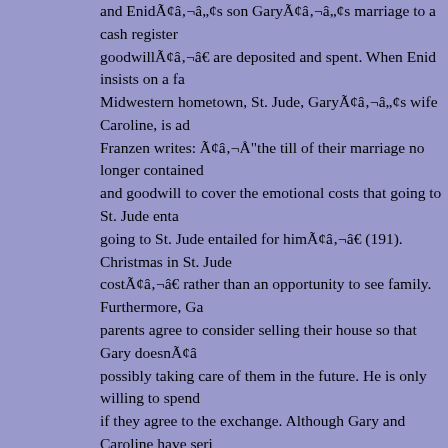and Enid's son Gary's marriage to a cash register goodwill are deposited and spent. When Enid insists on a family gathering at their Midwestern hometown, St. Jude, Gary's wife Caroline, is adament against it. Franzen writes: "the till of their marriage no longer contained enough money and goodwill to cover the emotional costs that going to St. Jude entailed for her, going to St. Jude entailed for him" (191). Christmas in St. Jude costs rather than an opportunity to see family. Furthermore, Gary's parents agree to consider selling their house so that Gary doesn't have to worry about possibly taking care of them in the future. He is only willing to spend Christmas there if they agree to the exchange. Although Gary and Caroline have serious issues and seem to be in constant competition for power, Gary cannot bring himself to divorce because he is afraid of the financial consequences. He "feared" being divorced. But three glowing and idealized mental portraits of his sons, chased the batlike horde of fears regarding finance, chased the notion from his head (206). Yet the glossy "portraits," or packaging of his children, Gary still worried about finances. Fear motivates Gary to protect himself from emotional pain by framing relationships as financial interactions. Like Enid, Gary views his children as products he creates and his marriage as a business venture he hopes will be lucrative. There is a certain logic that many people subscribe to in the text: money makes all the difference. When Denise visits Austria, she meets with Enid's St. Jude Klaus and Sil via. Klaus talks about St. Jude's "economic differences" and it's peoples belief that there are not "class differences" differences or "economic differences" (200...